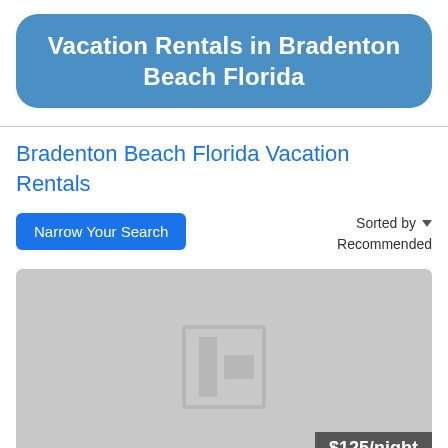Vacation Rentals in Bradenton Beach Florida
Bradenton Beach Florida Vacation Rentals
Narrow Your Search
Sorted by  Recommended
[Figure (photo): Placeholder listing image (gray background with image placeholder icon) showing $125/night price overlay]
$125/night